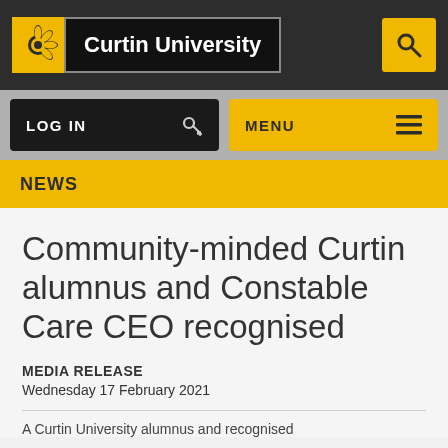Curtin University
NEWS
Community-minded Curtin alumnus and Constable Care CEO recognised
MEDIA RELEASE
Wednesday 17 February 2021
A Curtin University alumnus and recognised...